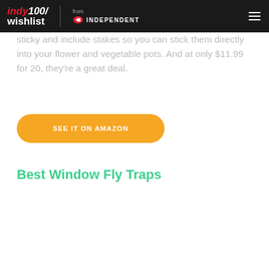indy100/wishlist from INDEPENDENT
sticky and include stakes so you can stick them directly into your flower and vegetable pots. And at only $11.99 for 20, they're a great deal.
SEE IT ON AMAZON
Best Window Fly Traps